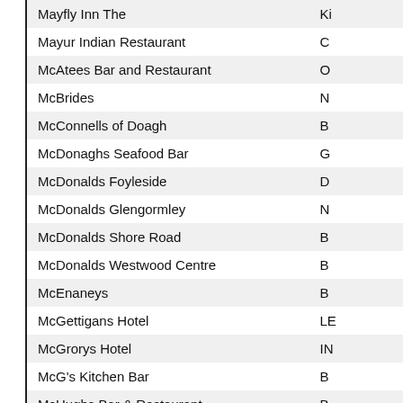| Name | Location |
| --- | --- |
| Mayfly Inn The | Ki |
| Mayur Indian Restaurant | C |
| McAtees Bar and Restaurant | O |
| McBrides | N |
| McConnells of Doagh | B |
| McDonaghs Seafood Bar | G |
| McDonalds Foyleside | D |
| McDonalds Glengormley | N |
| McDonalds Shore Road | B |
| McDonalds Westwood Centre | B |
| McEnaneys | B |
| McGettigans Hotel | LE |
| McGrorys Hotel | IN |
| McG's Kitchen Bar | B |
| McHughs Bar & Restaurant | B |
| McKeevers Bar - PatCs | P |
| McKenna's Bar | B |
| McLarnon's The Ramble Inn | A |